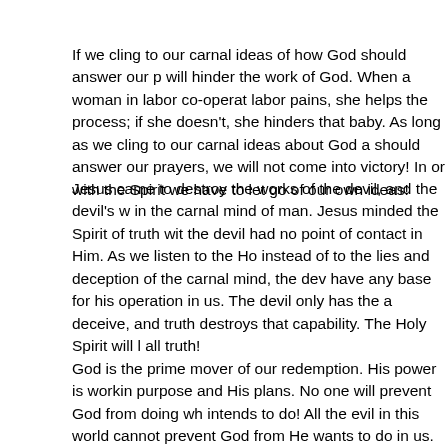If we cling to our carnal ideas of how God should answer our prayers, we will hinder the work of God. When a woman in labor co-operates with the labor pains, she helps the process; if she doesn't, she hinders the birth of that baby. As long as we cling to our carnal ideas about God and how He should answer our prayers, we will not come into victory! In order to walk with the Spirit we have to let go of our own ideas!
Jesus came to destroy the works of the devil, and the devil's work is rooted in the carnal mind of man. Jesus minded the Spirit of truth within Him, and the devil had no point of contact in Him. As we listen to the Holy Spirit instead of to the lies and deception of the carnal mind, the devil will not have any base for his operation in us. The devil only has the ability to deceive, and truth destroys that capability. The Holy Spirit will lead us into all truth!
God is the prime mover of our redemption. His power is working out His purpose and His plans. No one will prevent God from doing what He intends to do! All the evil in this world cannot prevent God from doing what He wants to do in us.